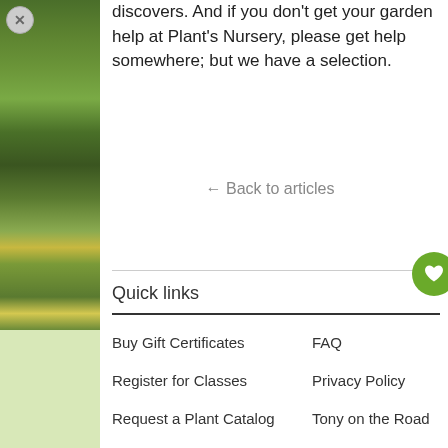[Figure (photo): Garden plants photo on left side panel with green foliage and yellow flowers, with a circular close (X) button overlay]
discovers. And if you don't get your garden help at Plant's Nursery, please get help somewhere; but we have a selection.
← Back to articles
Quick links
Buy Gift Certificates
FAQ
Register for Classes
Privacy Policy
Request a Plant Catalog
Tony on the Road